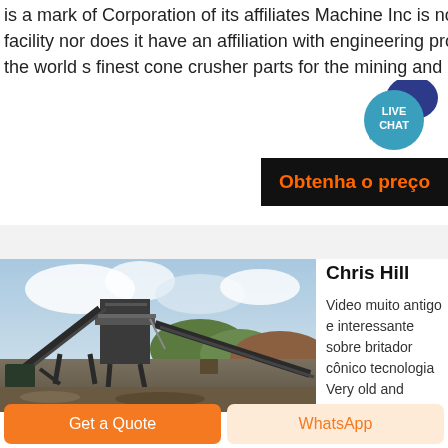is a mark of Corporation of its affiliates Machine Inc is not an authorized repair facility nor does it have an affiliation with engineering producing and supplying the world s finest cone crusher parts for the mining and aggregate industries
[Figure (other): Live Chat bubble icon — teal circle with LIVE CHAT text and dark blue speech bubble icon on top right]
Obtenha o preço
[Figure (photo): Outdoor industrial mining/aggregate plant with conveyor belts, steel structural framework, large hopper, mountains and cloudy sky in background]
Chris Hill
Video muito antigo e interessante sobre britador cônico tecnologia Very old and
Get a Quote
WhatsApp